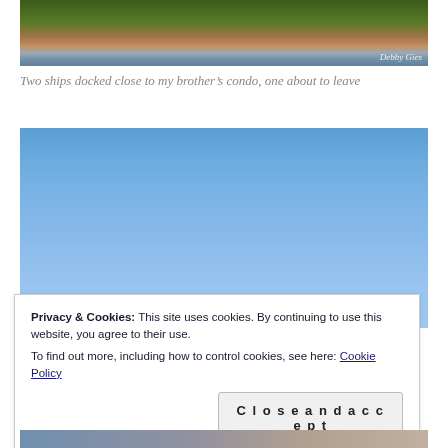[Figure (photo): Aerial or elevated view of ships docked near buildings with trees and town/waterfront in background. Watermark: Debby Gies]
Two ships docked close to my brother's condo, one about to leave
[Figure (photo): Clear blue sky photograph, mostly empty sky with slight gradient]
Privacy & Cookies: This site uses cookies. By continuing to use this website, you agree to their use.
To find out more, including how to control cookies, see here: Cookie Policy
Close and accept
[Figure (photo): Partial view of another photo at the bottom of the page, appears to show people near a waterfront]